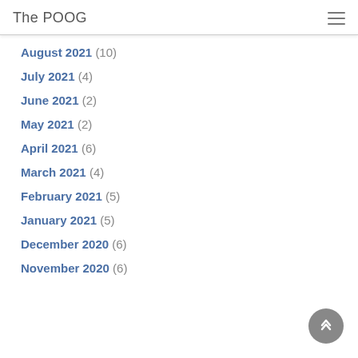The POOG
August 2021 (10)
July 2021 (4)
June 2021 (2)
May 2021 (2)
April 2021 (6)
March 2021 (4)
February 2021 (5)
January 2021 (5)
December 2020 (6)
November 2020 (6)